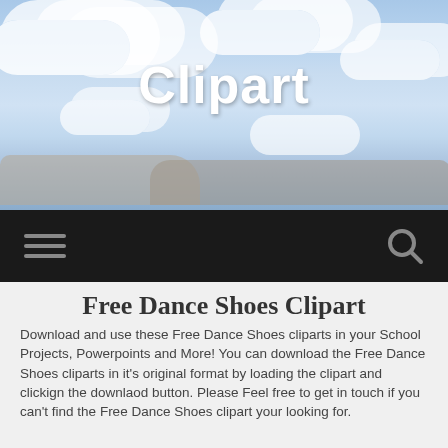[Figure (photo): Sky and clouds background banner with 'Clipart' logo text in white script font centered over the clouds]
Clipart
Free Dance Shoes Clipart
Download and use these Free Dance Shoes cliparts in your School Projects, Powerpoints and More! You can download the Free Dance Shoes cliparts in it's original format by loading the clipart and clickign the downlaod button. Please Feel free to get in touch if you can't find the Free Dance Shoes clipart your looking for.